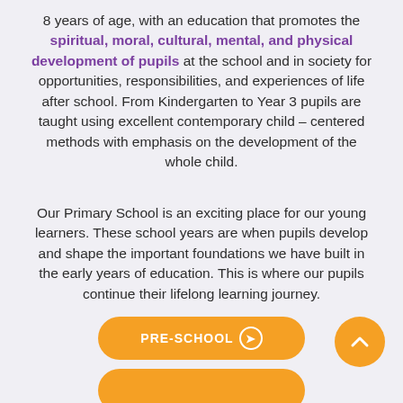8 years of age, with an education that promotes the spiritual, moral, cultural, mental, and physical development of pupils at the school and in society for opportunities, responsibilities, and experiences of life after school. From Kindergarten to Year 3 pupils are taught using excellent contemporary child – centered methods with emphasis on the development of the whole child.
Our Primary School is an exciting place for our young learners. These school years are when pupils develop and shape the important foundations we have built in the early years of education. This is where our pupils continue their lifelong learning journey.
[Figure (other): Orange rounded pill-shaped button with text PRE-SCHOOL and a circled arrow icon, and a separate orange circle with an upward chevron arrow on the right side]